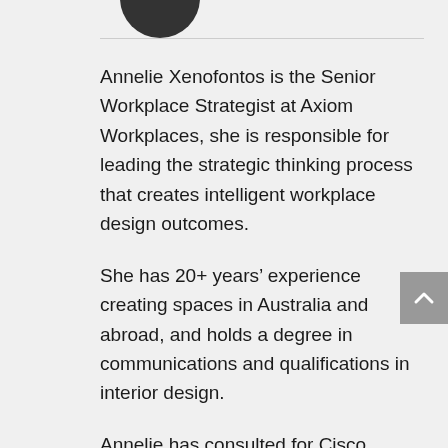[Figure (illustration): Partial circular logo or profile image, dark, cropped at top]
Annelie Xenofontos is the Senior Workplace Strategist at Axiom Workplaces, she is responsible for leading the strategic thinking process that creates intelligent workplace design outcomes.
She has 20+ years' experience creating spaces in Australia and abroad, and holds a degree in communications and qualifications in interior design.
Annelie has consulted for Cisco Meraki, Legacy Australia, hipages, British Consulate, Tokio Marine, Coleman Greig Lawyers.